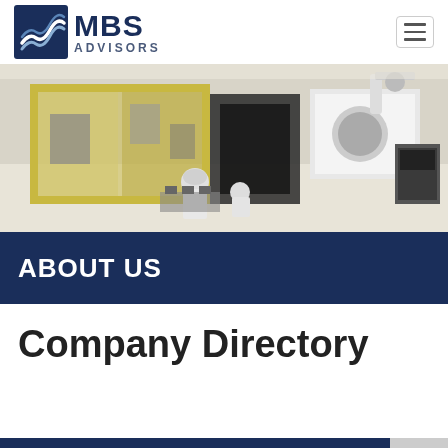[Figure (logo): MBS Advisors logo with stylized wave chevron icon and bold navy text]
[Figure (photo): Industrial manufacturing facility with yellow-framed glass enclosures, robotic equipment, and workers in white cleanroom suits]
ABOUT US
Company Directory